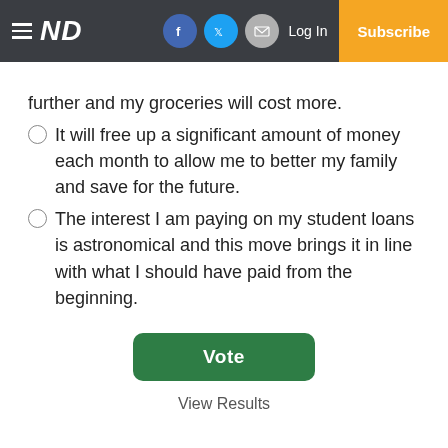≡ ND  [Facebook] [Twitter] [Mail]  Log In  Subscribe
further and my groceries will cost more.
It will free up a significant amount of money each month to allow me to better my family and save for the future.
The interest I am paying on my student loans is astronomical and this move brings it in line with what I should have paid from the beginning.
Vote
View Results